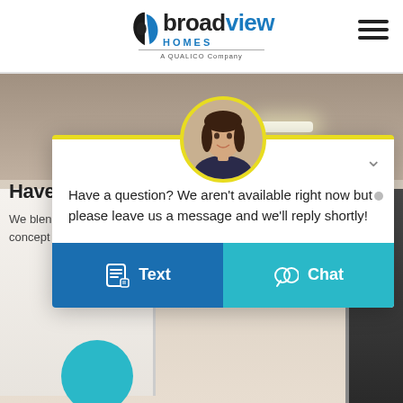[Figure (logo): Broadview Homes logo - A Qualico Company]
[Figure (photo): Interior room background photo showing kitchen/living space with beige walls and recessed lighting]
Have any
We blend m... concept lay...
[Figure (screenshot): Chat widget popup with avatar photo, message: Have a question? We aren't available right now but please leave us a message and we'll reply shortly! with Text and Chat buttons]